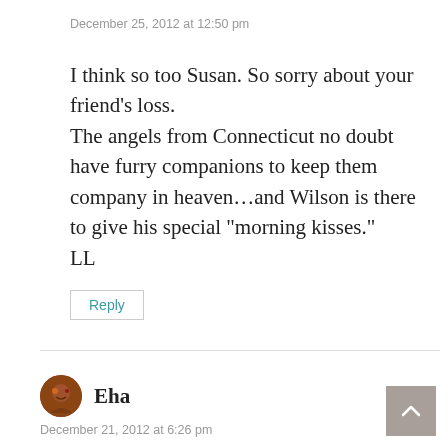December 25, 2012 at 12:50 pm
I think so too Susan. So sorry about your friend’s loss.
The angels from Connecticut no doubt have furry companions to keep them company in heaven…and Wilson is there to give his special “morning kisses.”
LL
Reply
Eha
December 21, 2012 at 6:26 pm